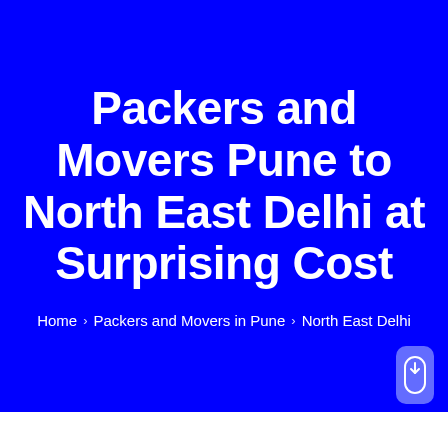Packers and Movers Pune to North East Delhi at Surprising Cost
Home › Packers and Movers in Pune › North East Delhi